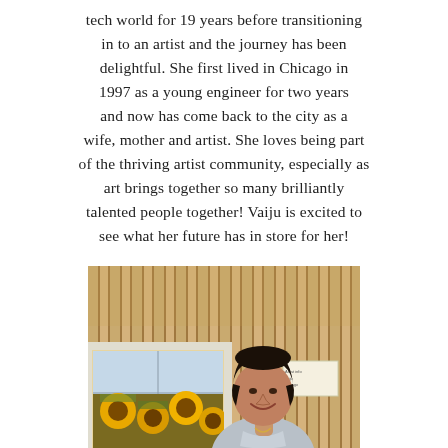tech world for 19 years before transitioning in to an artist and the journey has been delightful. She first lived in Chicago in 1997 as a young engineer for two years and now has come back to the city as a wife, mother and artist. She loves being part of the thriving artist community, especially as art brings together so many brilliantly talented people together! Vaiju is excited to see what her future has in store for her!
[Figure (photo): A woman with short dark hair sitting and smiling in front of a wooden slat wall, next to a framed painting of sunflowers.]